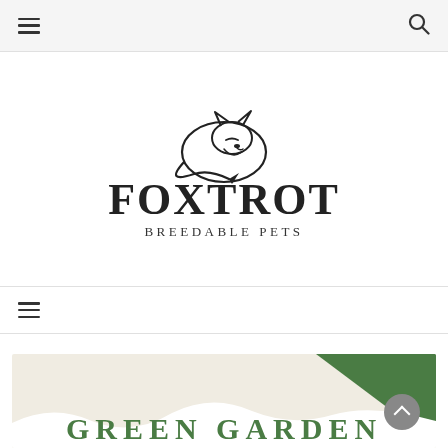Navigation bar with hamburger menu and search icon
[Figure (logo): Foxtrot Breedable Pets logo: a fox curled up above the text FOXTROT in large serif capitals, with 'Breedable Pets' in smaller spaced serif text below]
Second navigation bar with hamburger menu
[Figure (illustration): Partial banner with green triangle in top-right corner, cream/beige background, wavy white hills, and the beginning of the text GREEN GARDEN in large green serif letters at the bottom]